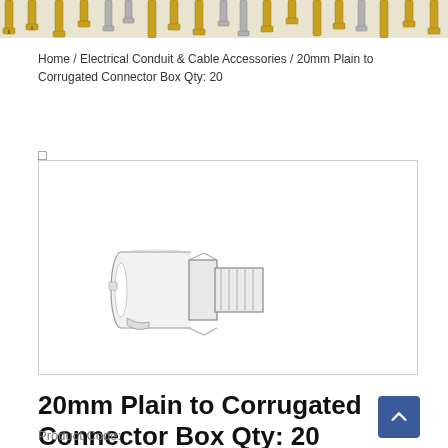[Figure (photo): Header banner showing rows of screws and fasteners in gold and silver tones against a light background]
Home / Electrical Conduit & Cable Accessories / 20mm Plain to Corrugated Connector Box Qty: 20
[Figure (engineering-diagram): Technical line drawing/illustration of a 20mm Plain to Corrugated Connector, showing a cylindrical conduit connector with threaded and corrugated sections, depicted in isometric view with light grey shading]
20mm Plain to Corrugated Connector Box Qty: 20
Product Code: